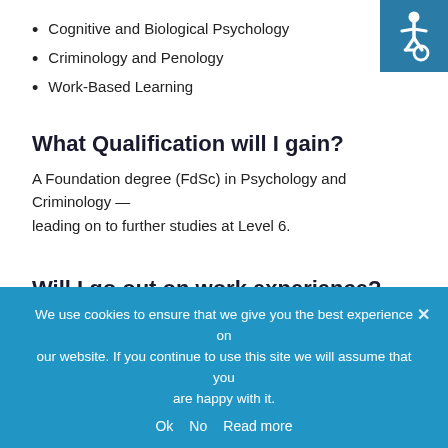Cognitive and Biological Psychology
Criminology and Penology
Work-Based Learning
What Qualification will I gain?
A Foundation degree (FdSc) in Psychology and Criminology — leading on to further studies at Level 6.
Will I go out on work experience?
The programme will involve one longer work placement, or a
[Figure (other): Accessibility icon — white wheelchair symbol on teal/blue background square in top-right corner]
We use cookies to ensure that we give you the best experience on our website. If you continue to use this site we will assume that you are happy with it.
Ok   No   Read more